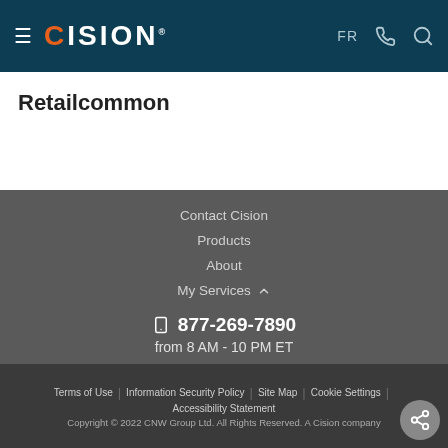CISION — FR (phone) (search)
Retailcommon
Contact Cision
Products
About
My Services
877-269-7890
from 8 AM - 10 PM ET
Terms of Use | Information Security Policy | Site Map | Cookie Settings | Accessibility Statement
Copyright © 2022 CNW Group Ltd. All Rights Reserved. A Cision company